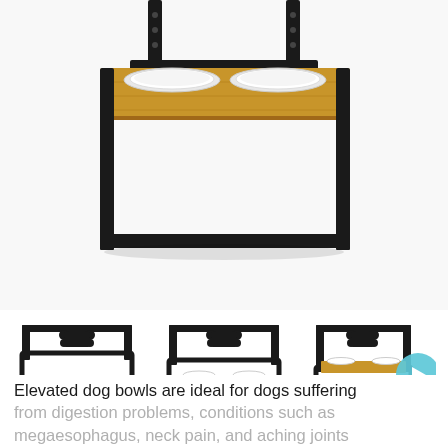[Figure (photo): Elevated adjustable dog bowl feeder stand with black metal frame and bamboo/wood top shelf holding two white ceramic bowls. The stand is height-adjustable with vertical posts.]
[Figure (illustration): Three smaller product images showing the same elevated dog bowl stand at different height settings (low, medium, high), each with a bone-shaped decorative element hanging at top.]
Elevated dog bowls are ideal for dogs suffering from digestion problems, conditions such as megaesophagus, neck pain, and aching joints